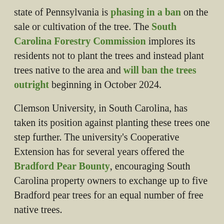state of Pennsylvania is phasing in a ban on the sale or cultivation of the tree. The South Carolina Forestry Commission implores its residents not to plant the trees and instead plant trees native to the area and will ban the trees outright beginning in October 2024.
Clemson University, in South Carolina, has taken its position against planting these trees one step further. The university's Cooperative Extension has for several years offered the Bradford Pear Bounty, encouraging South Carolina property owners to exchange up to five Bradford pear trees for an equal number of free native trees.
Choosing native trees and plants for your yard is better because these plants are acclimated to the climate and soil conditions and, therefore, are more likely to thrive, according to the U.S. Forest Service. Native plants and trees also require less maintenance and upkeep and provide a healthy